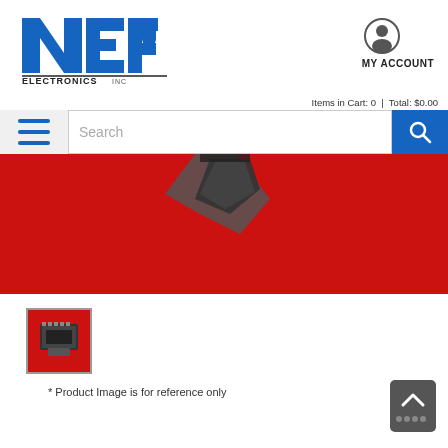[Figure (logo): NEP Electronics Inc logo - blue and black stylized letters with ELECTRONICS INC text]
[Figure (icon): My Account person icon circle]
MY ACCOUNT
Items in Cart: 0  |  Total: $0.00
[Figure (icon): Hamburger menu icon with three blue horizontal lines]
Search
[Figure (icon): Blue search magnifying glass button]
[Figure (photo): Product photo on red background - appears to be an electronic connector or component, partially visible at top]
[Figure (photo): Thumbnail image of electronic component (connector/receptacle) on red background]
* Product Image is for reference only
[Figure (other): Back to top button - dark grey rounded rectangle with up arrow and dots]